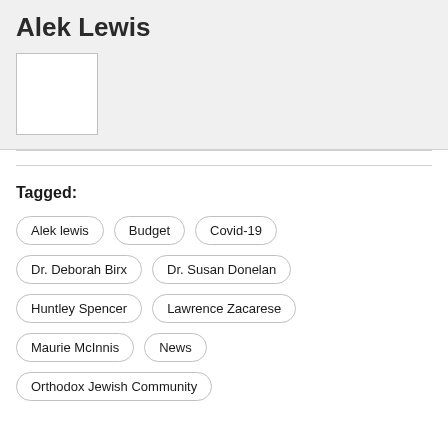Alek Lewis
[Figure (photo): Empty white photo placeholder box]
Tagged:
Alek lewis
Budget
Covid-19
Dr. Deborah Birx
Dr. Susan Donelan
Huntley Spencer
Lawrence Zacarese
Maurie McInnis
News
Orthodox Jewish Community